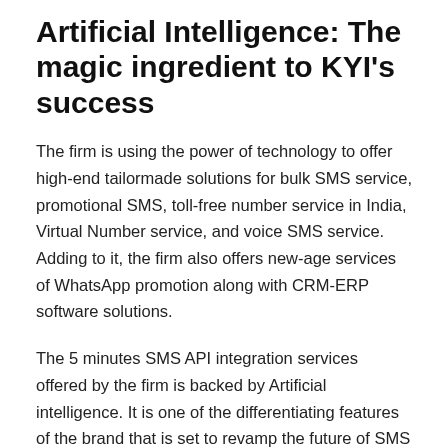Artificial Intelligence: The magic ingredient to KYI's success
The firm is using the power of technology to offer high-end tailormade solutions for bulk SMS service, promotional SMS, toll-free number service in India, Virtual Number service, and voice SMS service. Adding to it, the firm also offers new-age services of WhatsApp promotion along with CRM-ERP software solutions.
The 5 minutes SMS API integration services offered by the firm is backed by Artificial intelligence. It is one of the differentiating features of the brand that is set to revamp the future of SMS marketing in the times to come. Be it bulk text SMS, short code SMS service, or long code